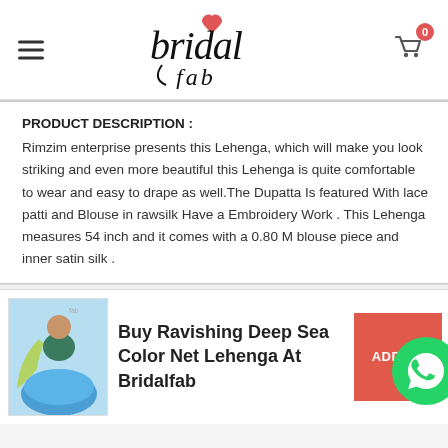[Figure (logo): Bridalfab logo with heart accent and italic script text]
PRODUCT DESCRIPTION :
Rimzim enterprise presents this Lehenga, which will make you look striking and even more beautiful this Lehenga is quite comfortable to wear and easy to drape as well.The Dupatta Is featured With lace patti and Blouse in rawsilk Have a Embroidery Work . This Lehenga measures 54 inch and it comes with a 0.80 M blouse piece and inner satin silk .
[Figure (photo): Blue and green lehenga outfit photo]
Buy Ravishing Deep Sea Color Net Lehenga At Bridalfab
[Figure (other): ADD TO cart button (red/coral) with WhatsApp icon overlay]